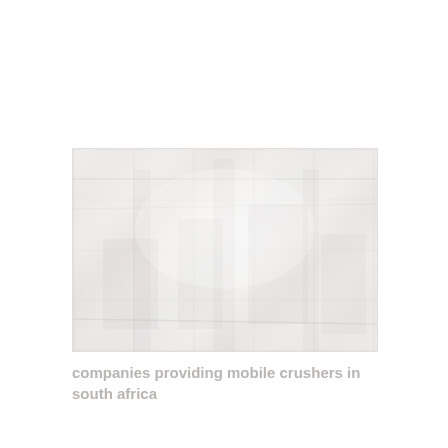[Figure (photo): Faded/washed-out industrial interior photograph showing what appears to be a factory or workshop with machinery and equipment, very light and overexposed]
companies providing mobile crushers in south africa